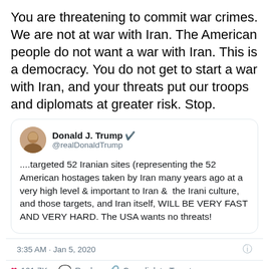You are threatening to commit war crimes. We are not at war with Iran. The American people do not want a war with Iran. This is a democracy. You do not get to start a war with Iran, and your threats put our troops and diplomats at greater risk. Stop.
[Figure (screenshot): Embedded tweet from @realDonaldTrump: '....targeted 52 Iranian sites (representing the 52 American hostages taken by Iran many years ago at a very high level & important to Iran & the Irani culture, and those targets, and Iran itself, WILL BE VERY FAST AND VERY HARD. The USA wants no threats!' Posted 3:35 AM · Jan 5, 2020. 101.7K likes. Reply and Copy link to Tweet options. Read 3.5K replies button.]